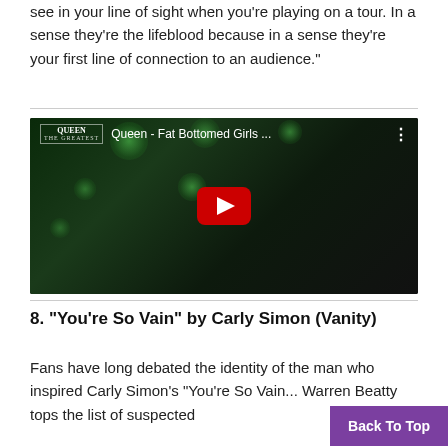see in your line of sight when you're playing on a tour. In a sense they're the lifeblood because in a sense they're your first line of connection to an audience."
[Figure (screenshot): YouTube video embed showing Queen - Fat Bottomed Girls music video with play button overlay and video title in top bar]
8. “You’re So Vain” by Carly Simon (Vanity)
Fans have long debated the identity of the man who inspired Carly Simon’s “You’re So Vain... Warren Beatty tops the list of suspected